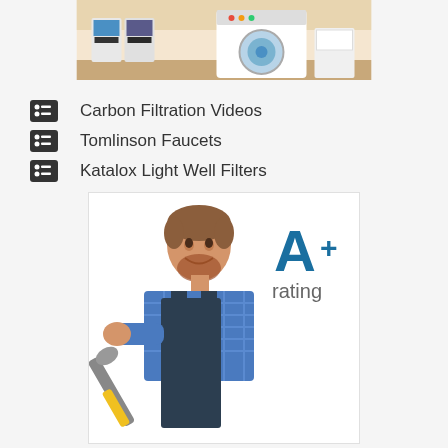[Figure (illustration): Top illustration showing laundry room or water filtration appliances in a cartoon style]
Carbon Filtration Videos
Tomlinson Faucets
Katalox Light Well Filters
[Figure (photo): Photo of a smiling male plumber/technician in blue checkered shirt and dark overalls holding a wrench, with 'A+ rating' text in teal/blue beside him]